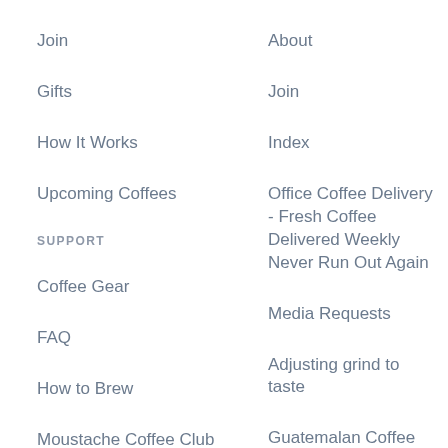Join
About
Gifts
Join
How It Works
Index
Upcoming Coffees
Office Coffee Delivery - Fresh Coffee Delivered Weekly Never Run Out Again
SUPPORT
Media Requests
Coffee Gear
Adjusting grind to taste
FAQ
Guatemalan Coffee
How to Brew
Terms and Conditions
Moustache Coffee Club Reviews
How to use a Clever Dripper
Starbucks Gift Card